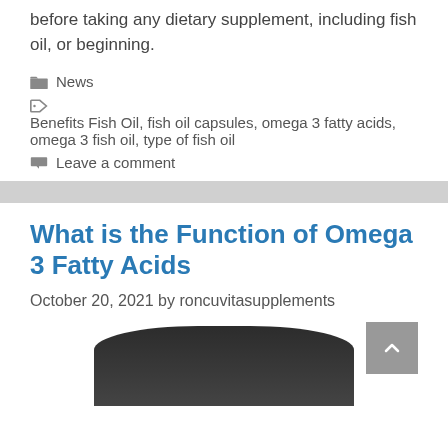before taking any dietary supplement, including fish oil, or beginning.
News
Benefits Fish Oil, fish oil capsules, omega 3 fatty acids, omega 3 fish oil, type of fish oil
Leave a comment
What is the Function of Omega 3 Fatty Acids
October 20, 2021 by roncuvitasupplements
[Figure (photo): Dark cylindrical supplement container, partially visible at bottom of page]